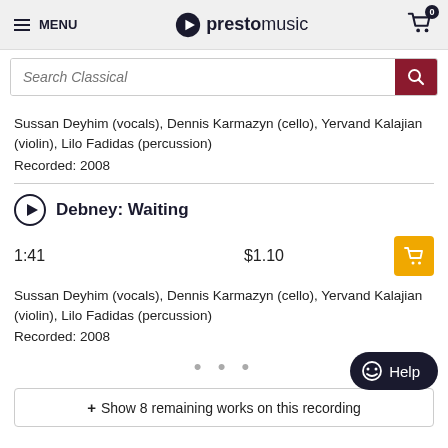MENU | prestomusic | Cart: 0
Search Classical
Sussan Deyhim (vocals), Dennis Karmazyn (cello), Yervand Kalajian (violin), Lilo Fadidas (percussion)
Recorded: 2008
Debney: Waiting
1:41    $1.10
Sussan Deyhim (vocals), Dennis Karmazyn (cello), Yervand Kalajian (violin), Lilo Fadidas (percussion)
Recorded: 2008
• • •
+ Show 8 remaining works on this recording